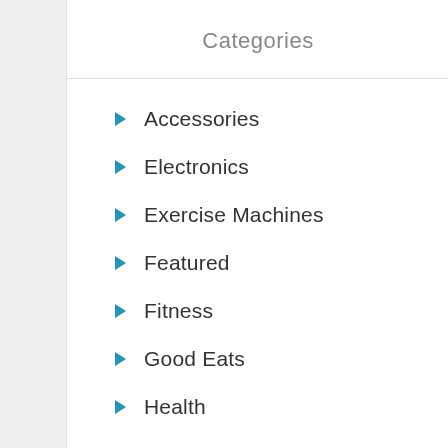Categories
Accessories
Electronics
Exercise Machines
Featured
Fitness
Good Eats
Health